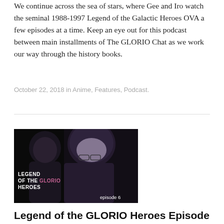We continue across the sea of stars, where Gee and Iro watch the seminal 1988-1997 Legend of the Galactic Heroes OVA a few episodes at a time. Keep an eye out for this podcast between main installments of The GLORIO Chat as we work our way through the history books.
October 22, 2018 in Anime, Features, Podcast.
[Figure (photo): Thumbnail image for 'Legend of the GLORIO Heroes' podcast episode 6. Dark background with anime-style characters. Text overlay reads 'LEGEND OF THE GLORIO HEROES' on the left with 'episode 6' on the right.]
Legend of the GLORIO Heroes Episode 6: Oberstein Would Totally Shoot a Child
We continue across the sea of stars, where Gee and Iro watch the seminal 1988-1997 Legend of the Galactic Heroes OVA a few episodes